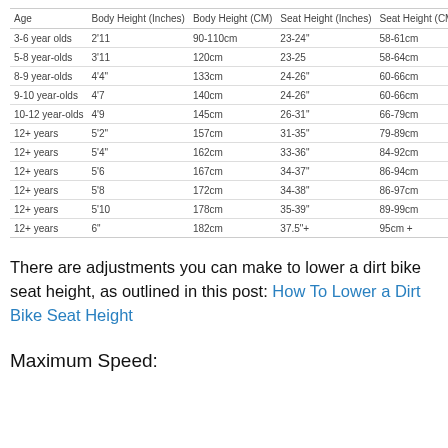| Age | Body Height (Inches) | Body Height (CM) | Seat Height (Inches) | Seat Height (CM) |
| --- | --- | --- | --- | --- |
| 3-6 year olds | 2'11 | 90-110cm | 23-24" | 58-61cm |
| 5-8 year-olds | 3'11 | 120cm | 23-25 | 58-64cm |
| 8-9 year-olds | 4'4" | 133cm | 24-26" | 60-66cm |
| 9-10 year-olds | 4'7 | 140cm | 24-26" | 60-66cm |
| 10-12 year-olds | 4'9 | 145cm | 26-31" | 66-79cm |
| 12+ years | 5'2" | 157cm | 31-35" | 79-89cm |
| 12+ years | 5'4" | 162cm | 33-36" | 84-92cm |
| 12+ years | 5'6 | 167cm | 34-37" | 86-94cm |
| 12+ years | 5'8 | 172cm | 34-38" | 86-97cm |
| 12+ years | 5'10 | 178cm | 35-39" | 89-99cm |
| 12+ years | 6" | 182cm | 37.5"+ | 95cm + |
There are adjustments you can make to lower a dirt bike seat height, as outlined in this post: How To Lower a Dirt Bike Seat Height
Maximum Speed: